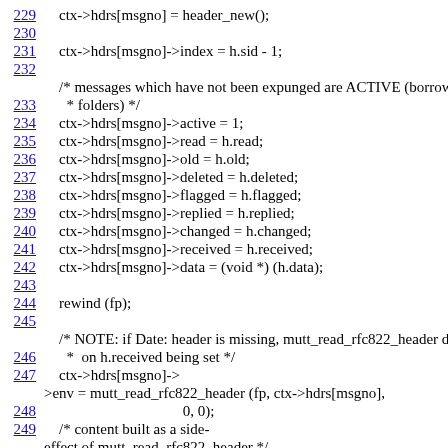229    ctx->hdrs[msgno] = header_new();
230
231    ctx->hdrs[msgno]->index = h.sid - 1;
232
/* messages which have not been expunged are ACTIVE (borrow
233      * folders) */
234    ctx->hdrs[msgno]->active = 1;
235    ctx->hdrs[msgno]->read = h.read;
236    ctx->hdrs[msgno]->old = h.old;
237    ctx->hdrs[msgno]->deleted = h.deleted;
238    ctx->hdrs[msgno]->flagged = h.flagged;
239    ctx->hdrs[msgno]->replied = h.replied;
240    ctx->hdrs[msgno]->changed = h.changed;
241    ctx->hdrs[msgno]->received = h.received;
242    ctx->hdrs[msgno]->data = (void *) (h.data);
243
244    rewind (fp);
245
/* NOTE: if Date: header is missing, mutt_read_rfc822_header d
246      *  on h.received being set */
247    ctx->hdrs[msgno]->env = mutt_read_rfc822_header (fp, ctx->hdrs[msgno],
248                                     0, 0);
249    /* content built as a side-effect of mutt_read_rfc822_header */